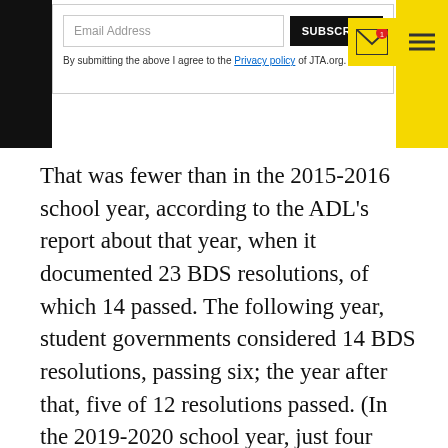Email Address | SUBSCRIBE | By submitting the above I agree to the Privacy policy of JTA.org.
That was fewer than in the 2015-2016 school year, according to the ADL's report about that year, when it documented 23 BDS resolutions, of which 14 passed. The following year, student governments considered 14 BDS resolutions, passing six; the year after that, five of 12 resolutions passed. (In the 2019-2020 school year, just four BDS resolutions came before student governments; the lower number is likely explained by the pandemics abrupt school closures.)